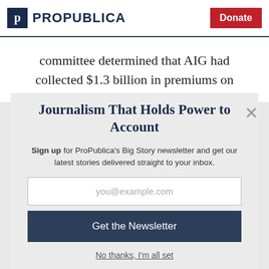ProPublica | Donate
committee determined that AIG had collected $1.3 billion in premiums on
Journalism That Holds Power to Account
Sign up for ProPublica's Big Story newsletter and get our latest stories delivered straight to your inbox.
you@example.com
Get the Newsletter
No thanks, I'm all set
This site is protected by reCAPTCHA and the Google Privacy Policy and Terms of Service apply.